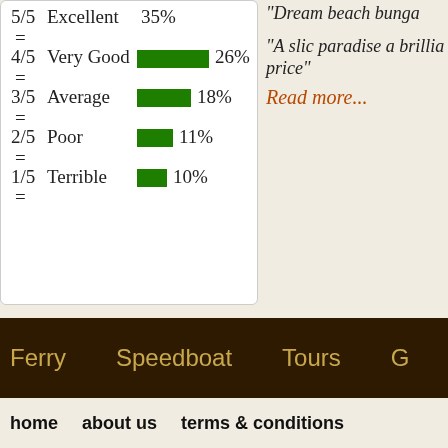[Figure (bar-chart): Rating distribution]
"Dream beach bungalow..."
"A slice of paradise... a brilliant price"
Read more...
Ferry   Speedboat   Tours   G
home   about us   terms & conditions